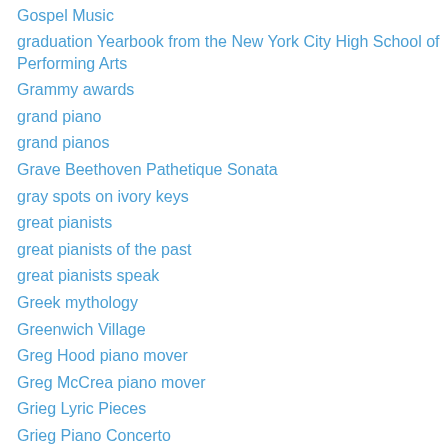Gospel Music
graduation Yearbook from the New York City High School of Performing Arts
Grammy awards
grand piano
grand pianos
Grave Beethoven Pathetique Sonata
gray spots on ivory keys
great pianists
great pianists of the past
great pianists speak
Greek mythology
Greenwich Village
Greg Hood piano mover
Greg McCrea piano mover
Grieg Lyric Pieces
Grieg Piano Concerto
Grigori Sokolov is a legendary pianist
Grigori Sokolov pianist
Grigory Sokolov